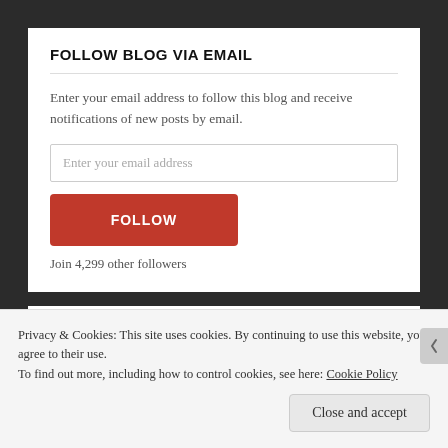FOLLOW BLOG VIA EMAIL
Enter your email address to follow this blog and receive notifications of new posts by email.
Enter your email address
FOLLOW
Join 4,299 other followers
LEGIONTWEETER
Privacy & Cookies: This site uses cookies. By continuing to use this website, you agree to their use.
To find out more, including how to control cookies, see here: Cookie Policy
Close and accept